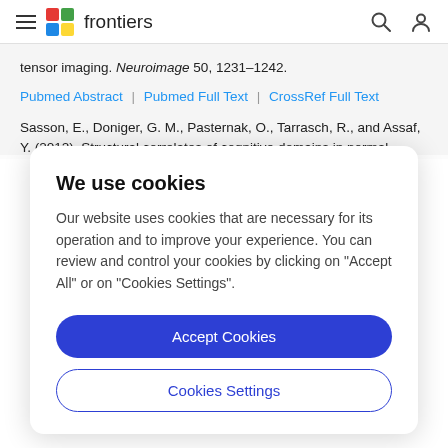frontiers
tensor imaging. Neuroimage 50, 1231–1242.
Pubmed Abstract | Pubmed Full Text | CrossRef Full Text
Sasson, E., Doniger, G. M., Pasternak, O., Tarrasch, R., and Assaf, Y. (2012). Structural correlates of cognitive domains in normal
We use cookies
Our website uses cookies that are necessary for its operation and to improve your experience. You can review and control your cookies by clicking on "Accept All" or on "Cookies Settings".
Accept Cookies
Cookies Settings